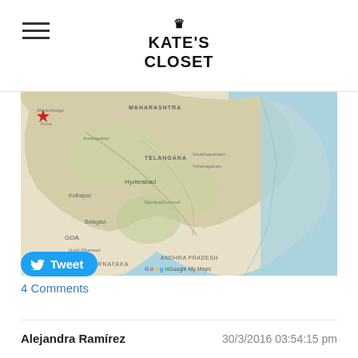KATE'S CLOSET
[Figure (map): Google My Maps showing India, highlighting Maharashtra, Telangana, Andhra Pradesh, Karnataka, and Goa regions with a red star marker on the west coast near Maharashtra. Bay of Bengal visible on the right. Map includes city labels like Hyderabad, Bengaluru, Vizianagaram, Visakhapatnam.]
Tweet
4 Comments
Alejandra Ramírez
30/3/2016 03:54:15 pm